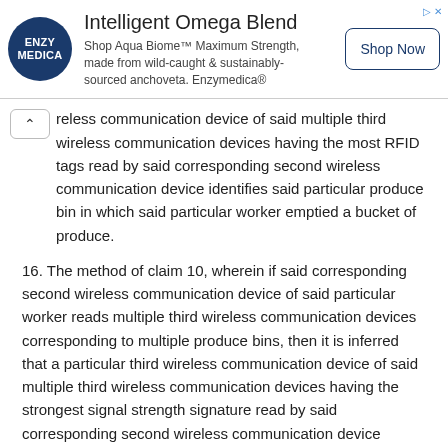[Figure (other): Advertisement banner for Enzymedica Intelligent Omega Blend product featuring logo, text, and Shop Now button]
reless communication device of said multiple third wireless communication devices having the most RFID tags read by said corresponding second wireless communication device identifies said particular produce bin in which said particular worker emptied a bucket of produce.
16. The method of claim 10, wherein if said corresponding second wireless communication device of said particular worker reads multiple third wireless communication devices corresponding to multiple produce bins, then it is inferred that a particular third wireless communication device of said multiple third wireless communication devices having the strongest signal strength signature read by said corresponding second wireless communication device identifies said particular produce bin in which said particular worker emptied a bucket of produce.
17. The method of claim 1, further comprising: associating said particular produce bin with said particular tree; and wherein each said corresponding third wireless communication device includes a monitor device, said